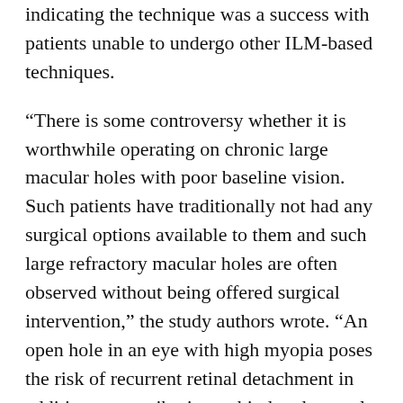indicating the technique was a success with patients unable to undergo other ILM-based techniques.
“There is some controversy whether it is worthwhile operating on chronic large macular holes with poor baseline vision. Such patients have traditionally not had any surgical options available to them and such large refractory macular holes are often observed without being offered surgical intervention,” the study authors wrote. “An open hole in an eye with high myopia poses the risk of recurrent retinal detachment in addition to contributing to hindered central vision.”
The study presents encouraging data on long-term surgical outcomes of this new technique, which “proved safe in this initial experience for closure of refractory macular holes. Such patients did not previously have viable surgical options available and this technique may provide the basis of a surgical technique upon which other improvements can be built and serve an important tool in the surgical armamentarium for management of such challenging refractory macular holes,” the study concludes